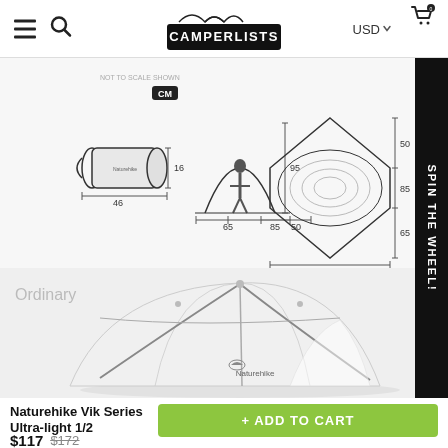CAMPERLISTS — USD — Cart (0)
[Figure (engineering-diagram): Tent dimension diagrams showing packed bag (46cm x 16cm), side profile with person (65+85+50cm wide, 95cm tall), and top-down footprint (210cm x dimensions 50, 85, 65cm)]
[Figure (photo): White Naturehike brand dome camping tent (Vik Series Ultra-light) on white background, with label 'Ordinary']
Naturehike Vik Series Ultra-light 1/2
$117 $172
+ ADD TO CART